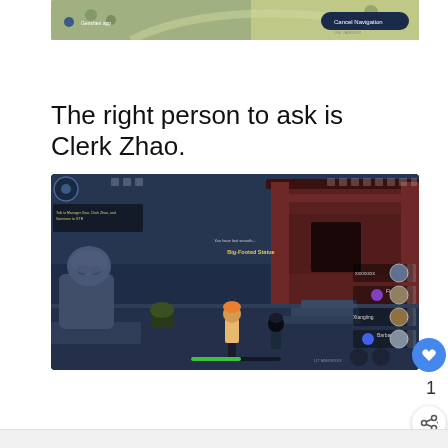[Figure (screenshot): Game screenshot showing a map view with a Cancel Navigation button in top right and a location marker in top left]
The right person to ask is Clerk Zhao.
[Figure (screenshot): Game screenshot from Genshin Impact showing characters on steps near a red building with a stone lion. UI elements include a minimap, quest text 'Talk to Manager Xiao, Clerk Zhao, and Someone to GTB', party panel showing characters Fischl, Xiangling, Barbara, center text 'Big-Footed Statue', and health bar at bottom.]